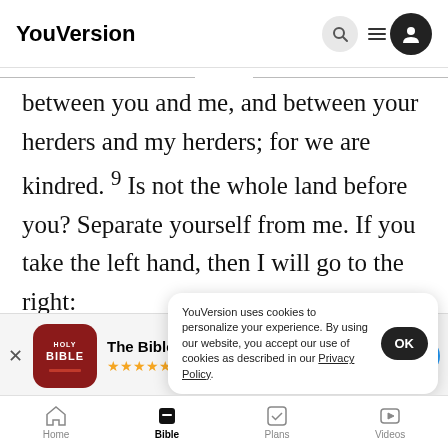YouVersion
between you and me, and between your herders and my herders; for we are kindred. 9 Is not the whole land before you? Separate yourself from me. If you take the left hand, then I will go to the right:
[Figure (screenshot): The Bible App install banner with red HOLY BIBLE icon, 5 gold stars, 7.9M rating, and blue Download button]
plain of
like the
YouVersion uses cookies to personalize your experience. By using our website, you accept our use of cookies as described in our Privacy Policy.
Home  Bible  Plans  Videos